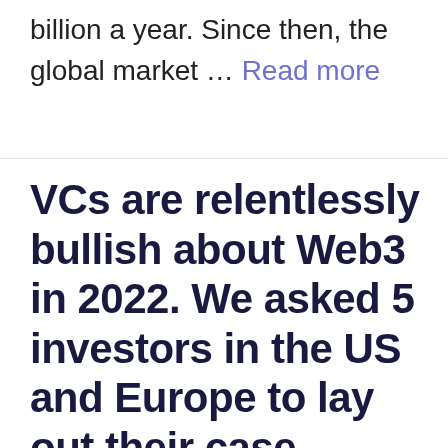billion a year. Since then, the global market … Read more
VCs are relentlessly bullish about Web3 in 2022. We asked 5 investors in the US and Europe to lay out their case.